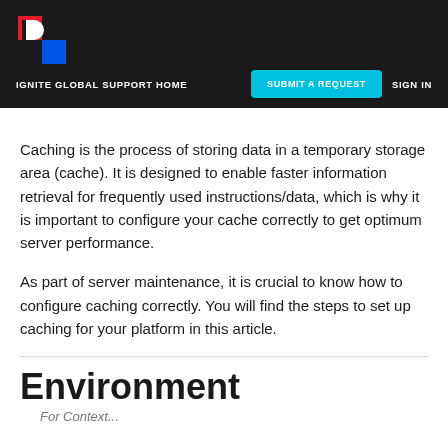IGNITE GLOBAL SUPPORT HOME | SUBMIT A REQUEST | SIGN IN
Caching is the process of storing data in a temporary storage area (cache). It is designed to enable faster information retrieval for frequently used instructions/data, which is why it is important to configure your cache correctly to get optimum server performance.
As part of server maintenance, it is crucial to know how to configure caching correctly. You will find the steps to set up caching for your platform in this article.
Environment